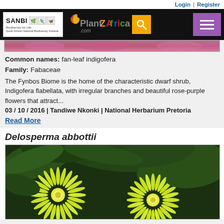Login | Register
[Figure (screenshot): PlantZAfrica website navigation bar with SANBI logo, PlantZAfrica.com logo, search button, and hamburger menu]
[Figure (photo): Partial view of purple flower image strip at top of content]
Common names: fan-leaf indigofera
Family: Fabaceae
The Fynbos Biome is the home of the characteristic dwarf shrub, Indigofera flabellata, with irregular branches and beautiful rose-purple flowers that attract...
03 / 10 / 2016 | Tandiwe Nkonki | National Herbarium Pretoria
Read More
Delosperma abbottii
[Figure (photo): Close-up photograph of yellow Delosperma abbottii flowers with many thin petals against dark green foliage background]